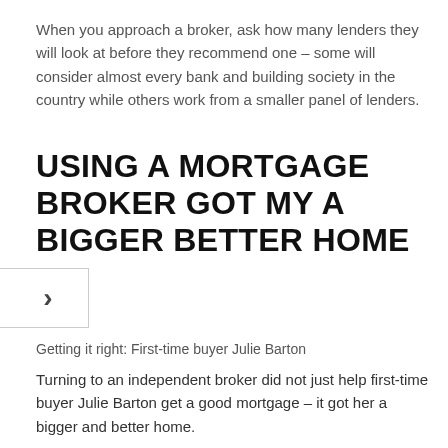When you approach a broker, ask how many lenders they will look at before they recommend one – some will consider almost every bank and building society in the country while others work from a smaller panel of lenders.
USING A MORTGAGE BROKER GOT MY A BIGGER BETTER HOME
[Figure (other): Arrow/chevron icon inside a bordered box, indicating a navigation or highlight element]
Getting it right: First-time buyer Julie Barton
Turning to an independent broker did not just help first-time buyer Julie Barton get a good mortgage – it got her a bigger and better home.
'Like many people, I know next to nothing on mortgages so I knew I needed help,' says support worker Julie, 45.
She checked online reviews on VouchedFor – a website that helps